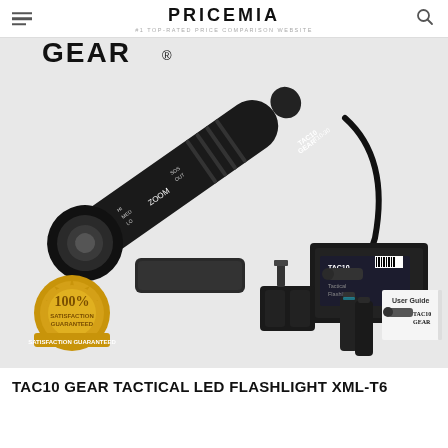PRICEMIA #1 TOP-RATED PRICE COMPARISON WEBSITE
[Figure (photo): TAC10 Gear tactical LED flashlight product photo showing the flashlight with accessories including holster, battery charger, two batteries, user guide, and packaging box with 100% satisfaction guarantee badge]
TAC10 GEAR TACTICAL LED FLASHLIGHT XML-T6